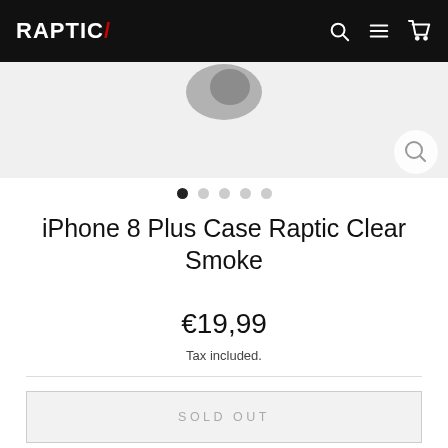RAPTIC/ [navigation with search, menu, cart icons]
[Figure (photo): Partial product photo of iPhone 8 Plus case in smoke/clear color, shown cropped at top of page with a circular zoom/search overlay icon in upper right corner]
● ○ ○ ○ ○ (pagination dots, first dot active)
iPhone 8 Plus Case Raptic Clear Smoke
€19,99
Tax included.
SOLD OUT
Tested to survive 6' drops on concrete. Exceeds MIL-STD-810G Standard.